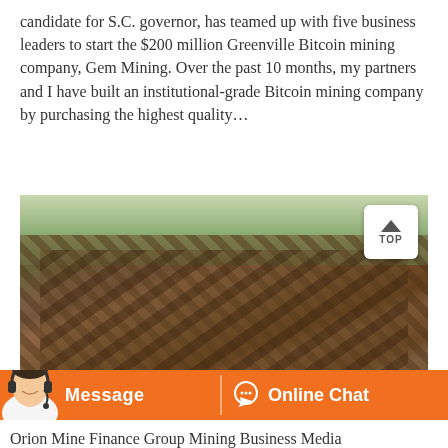candidate for S.C. governor, has teamed up with five business leaders to start the $200 million Greenville Bitcoin mining company, Gem Mining. Over the past 10 months, my partners and I have built an institutional-grade Bitcoin mining company by purchasing the highest quality…
[Figure (photo): Outdoor photograph of heavy industrial mining machinery — rusted conveyor belts and metal structures amid trees and vegetation.]
Message   Online Chat
Orion Mine Finance Group Mining Business Media